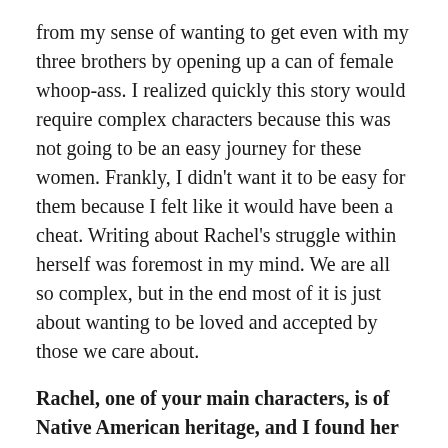from my sense of wanting to get even with my three brothers by opening up a can of female whoop-ass. I realized quickly this story would require complex characters because this was not going to be an easy journey for these women. Frankly, I didn't want it to be easy for them because I felt like it would have been a cheat. Writing about Rachel's struggle within herself was foremost in my mind. We are all so complex, but in the end most of it is just about wanting to be loved and accepted by those we care about.
Rachel, one of your main characters, is of Native American heritage, and I found her backstory and the way you wove it into the plotline extremely interesting. It also made all of the survival techniques your characters needed in order to endure after the plane crash believable and